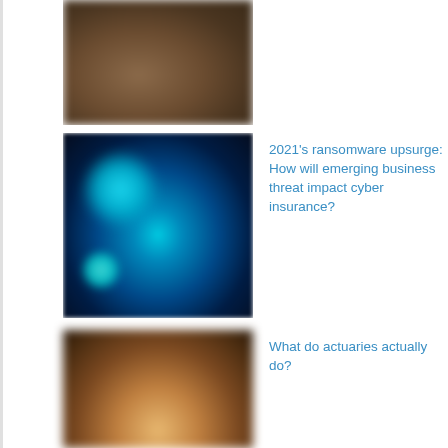[Figure (photo): Blurred brownish/dark photo, partial view at top of page]
[Figure (photo): Dark blue abstract digital/cyber themed image with glowing cyan orbs]
2021's ransomware upsurge: How will emerging business threat impact cyber insurance?
[Figure (photo): Blurred warm brown image with central glowing light spot]
What do actuaries actually do?